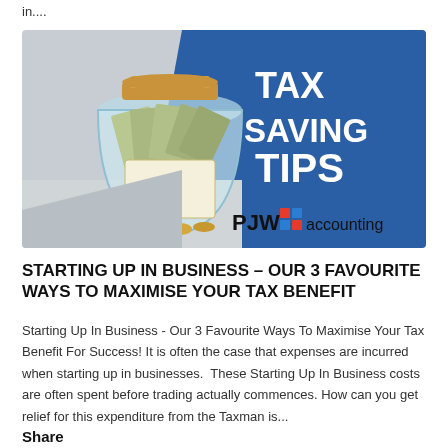in....
[Figure (infographic): Tax Saving Tips infographic banner with a glass jar filled with banknotes and coins and a pound sign label, blue background with white bold text reading TAX SAVING TIPS, and PJW accounting logo in bottom right]
STARTING UP IN BUSINESS – OUR 3 FAVOURITE WAYS TO MAXIMISE YOUR TAX BENEFIT
Starting Up In Business - Our 3 Favourite Ways To Maximise Your Tax Benefit For Success! It is often the case that expenses are incurred when starting up in businesses.  These Starting Up In Business costs are often spent before trading actually commences. How can you get relief for this expenditure from the Taxman is...
Share